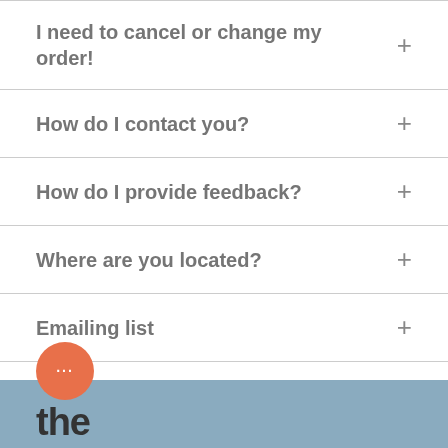I need to cancel or change my order!
How do I contact you?
How do I provide feedback?
Where are you located?
Emailing list
[Figure (illustration): Orange circular chat bubble icon with ellipsis (three dots) inside, positioned in lower left]
the